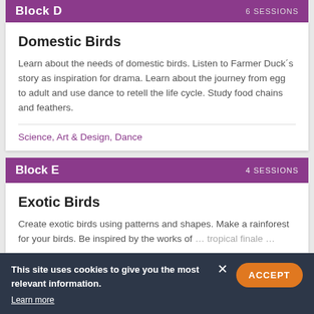Block D — 6 SESSIONS
Domestic Birds
Learn about the needs of domestic birds. Listen to Farmer Duck´s story as inspiration for drama. Learn about the journey from egg to adult and use dance to retell the life cycle. Study food chains and feathers.
Science, Art & Design, Dance
Block E — 4 SESSIONS
Exotic Birds
Create exotic birds using patterns and shapes. Make a rainforest for your birds. Be inspired by the works of … tropical finale … Art & Design, Music
This site uses cookies to give you the most relevant information. Learn more